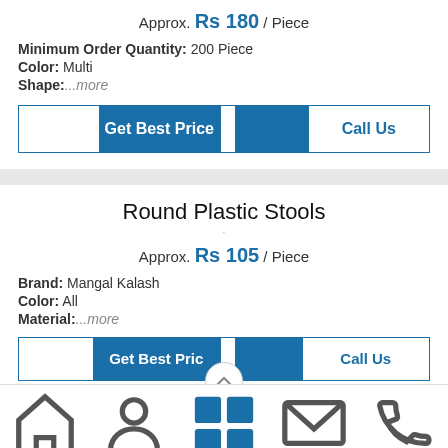Approx. Rs 180 / Piece
Minimum Order Quantity: 200 Piece
Color: Multi
Shape:...more
Get Best Price | Call Us
Round Plastic Stools
Approx. Rs 105 / Piece
Brand: Mangal Kalash
Color: All
Material:...more
Get Best Price | Call Us
Home | Profile | Our Range | Contact Us | Call Us